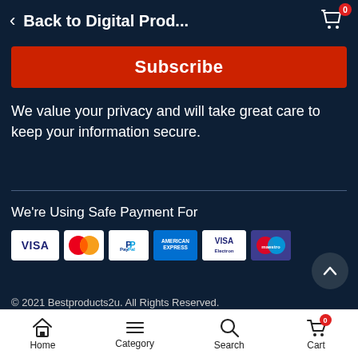Back to Digital Prod...
Subscribe
We value your privacy and will take great care to keep your information secure.
We're Using Safe Payment For
[Figure (logo): Payment method logos: VISA, MasterCard, PayPal, American Express, VISA Electron, Maestro]
© 2021 Bestproducts2u. All Rights Reserved.
Home   Category   Search   Cart